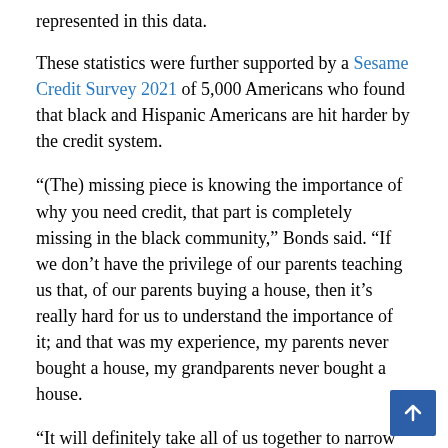represented in this data.
These statistics were further supported by a Sesame Credit Survey 2021 of 5,000 Americans who found that black and Hispanic Americans are hit harder by the credit system.
“(The) missing piece is knowing the importance of why you need credit, that part is completely missing in the black community,” Bonds said. “If we don’t have the privilege of our parents teaching us that, of our parents buying a house, then it’s really hard for us to understand the importance of it; and that was my experience, my parents never bought a house, my grandparents never bought a house.
“It will definitely take all of us together to narrow these credit gaps which in turn narrow the wealth gaps,” Bonds said.
Bonds thinks it starts with widespread dissemination credit education – including a basic knowledge of what credit is, how to build it and what goes into each individual score.